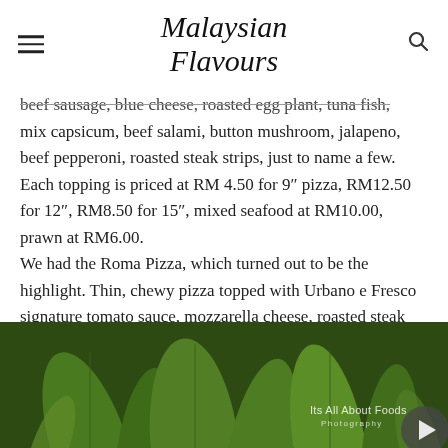Malaysian Flavours
beef sausage, blue cheese, roasted egg plant, tuna fish, mix capsicum, beef salami, button mushroom, jalapeno, beef pepperoni, roasted steak strips, just to name a few. Each topping is priced at RM 4.50 for 9″ pizza, RM12.50 for 12″, RM8.50 for 15″, mixed seafood at RM10.00, prawn at RM6.00.
We had the Roma Pizza, which turned out to be the highlight. Thin, chewy pizza topped with Urbano e Fresco signature tomato sauce, mozzarella cheese, roasted steak strips, buttom mushroom, red onion and capsicum. Plentiful toppings for a satisfying meal.
[Figure (photo): Close-up photo of green leafy vegetables (arugula/rocket leaves) with watermark 'Its All About Foods Photography']